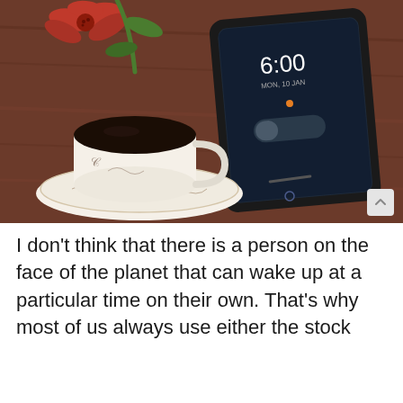[Figure (photo): A smartphone showing an alarm at 6:00, lying on a wooden table beside a white coffee cup with black coffee on a decorative saucer, and a red zinnia flower with green stem in the background.]
I don't think that there is a person on the face of the planet that can wake up at a particular time on their own. That's why most of us always use either the stock clock app on Android/iOS devices